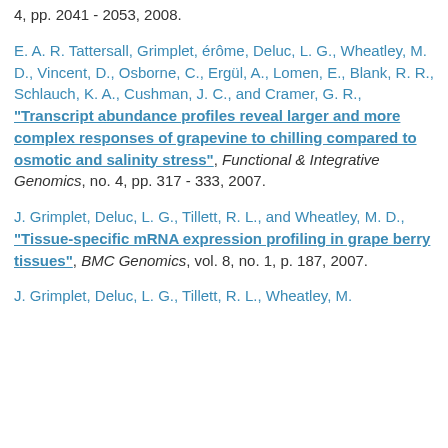4, pp. 2041 - 2053, 2008.
E. A. R. Tattersall, Grimplet, érôme, Deluc, L. G., Wheatley, M. D., Vincent, D., Osborne, C., Ergül, A., Lomen, E., Blank, R. R., Schlauch, K. A., Cushman, J. C., and Cramer, G. R., "Transcript abundance profiles reveal larger and more complex responses of grapevine to chilling compared to osmotic and salinity stress", Functional & Integrative Genomics, no. 4, pp. 317 - 333, 2007.
J. Grimplet, Deluc, L. G., Tillett, R. L., and Wheatley, M. D., "Tissue-specific mRNA expression profiling in grape berry tissues", BMC Genomics, vol. 8, no. 1, p. 187, 2007.
J. Grimplet, Deluc, L. G., Tillett, R. L., Wheatley, M.